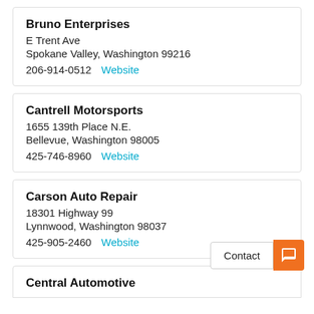Bruno Enterprises
E Trent Ave
Spokane Valley, Washington 99216
206-914-0512  Website
Cantrell Motorsports
1655 139th Place N.E.
Bellevue, Washington 98005
425-746-8960  Website
Carson Auto Repair
18301 Highway 99
Lynnwood, Washington 98037
425-905-2460  Website
Central Automotive